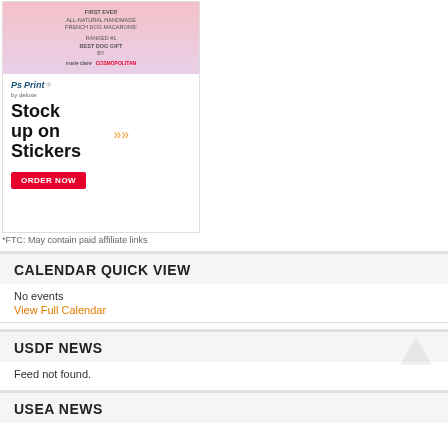[Figure (photo): Advertisement image for dog macarons at top and PsPrint sticker advertisement below with open box, sticker sheets, and ORDER NOW button]
*FTC: May contain paid affiliate links
CALENDAR QUICK VIEW
No events
View Full Calendar
USDF NEWS
Feed not found.
USEA NEWS